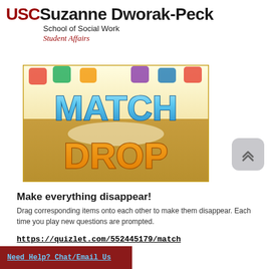[Figure (logo): USC Suzanne Dworak-Peck School of Social Work, Student Affairs logo/header]
[Figure (illustration): Match Drop game promotional image with colorful 'MATCH DROP' text on a golden background with jewel-like game pieces at top]
Make everything disappear!
Drag corresponding items onto each other to make them disappear. Each time you play new questions are prompted.
https://quizlet.com/552445179/match
Need Help? Chat/Email Us